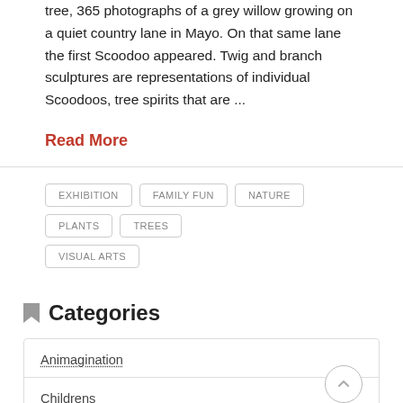tree, 365 photographs of a grey willow growing on a quiet country lane in Mayo. On that same lane the first Scoodoo appeared. Twig and branch sculptures are representations of individual Scoodoos, tree spirits that are ...
Read More
EXHIBITION
FAMILY FUN
NATURE
PLANTS
TREES
VISUAL ARTS
Categories
Animagination
Childrens